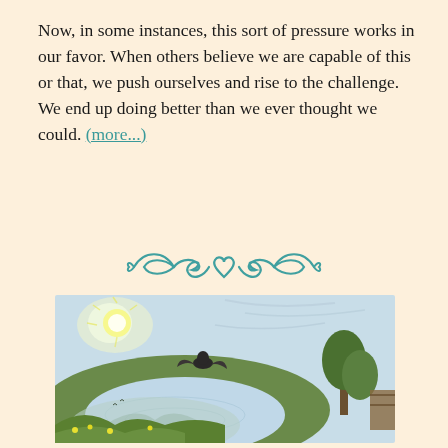Now, in some instances, this sort of pressure works in our favor. When others believe we are capable of this or that, we push ourselves and rise to the challenge. We end up doing better than we ever thought we could. (more...)
[Figure (illustration): Decorative teal/turquoise ornamental divider with scrollwork and a heart shape in the center]
[Figure (illustration): Fantasy painting of a figure with flowing dark hair/cape standing atop a stone arch bridge over a reflective pool, surrounded by lush green trees and flowers, with a bright sunburst and swirling sky in the background]